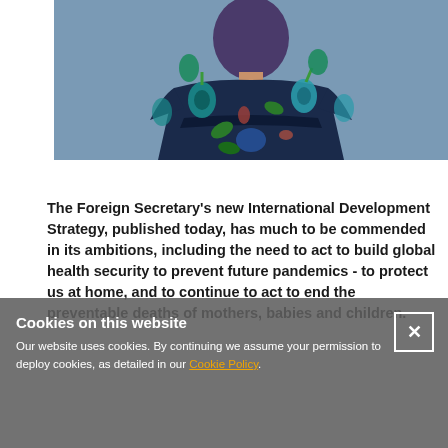[Figure (photo): Person wearing a dark navy floral printed dress with teal and green flower pattern, photographed against a grey-blue background]
The Foreign Secretary’s new International Development Strategy, published today, has much to be commended in its ambitions, including the need to act to build global health security to prevent future pandemics - to protect us at home, and to continue to act to end the preventable deaths of mothers, babies and children.
Cookies on this website
Our website uses cookies. By continuing we assume your permission to deploy cookies, as detailed in our Cookie Policy.